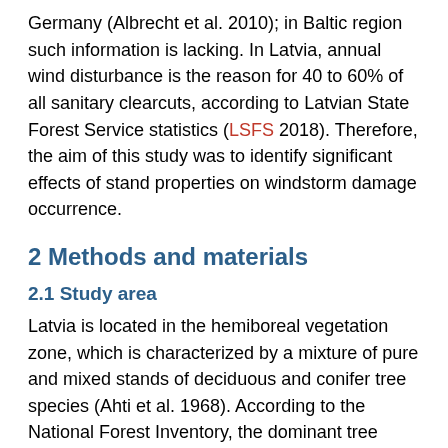Germany (Albrecht et al. 2010); in Baltic region such information is lacking. In Latvia, annual wind disturbance is the reason for 40 to 60% of all sanitary clearcuts, according to Latvian State Forest Service statistics (LSFS 2018). Therefore, the aim of this study was to identify significant effects of stand properties on windstorm damage occurrence.
2 Methods and materials
2.1 Study area
Latvia is located in the hemiboreal vegetation zone, which is characterized by a mixture of pure and mixed stands of deciduous and conifer tree species (Ahti et al. 1968). According to the National Forest Inventory, the dominant tree species are birch (Betula spp.), Scots pine (Pinus sylvestris L.) and Norway spruce (Picea abies (L.) Karst.)